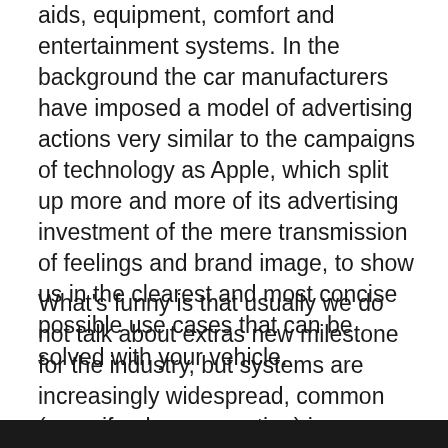aids, equipment, comfort and entertainment systems. In the background the car manufacturers have imposed a model of advertising actions very similar to the campaigns of technology as Apple, which split up more and more of its advertising investment of the mere transmission of feelings and brand image, to show us in the clearest and most concise possible use cases that can be solved with your vehicle.
What's funny is that usually we do not talk about extras new milestone for the industry, but systems are increasingly widespread, common (even if only as an option) in a very large number of cars.